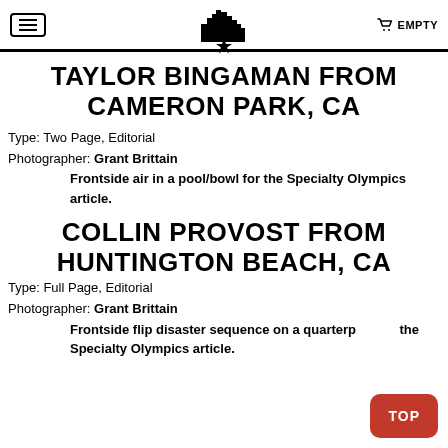EMPTY
TAYLOR BINGAMAN FROM CAMERON PARK, CA
Type: Two Page, Editorial
Photographer: Grant Brittain
Frontside air in a pool/bowl for the Specialty Olympics article.
COLLIN PROVOST FROM HUNTINGTON BEACH, CA
Type: Full Page, Editorial
Photographer: Grant Brittain
Frontside flip disaster sequence on a quarterp... the Specialty Olympics article.